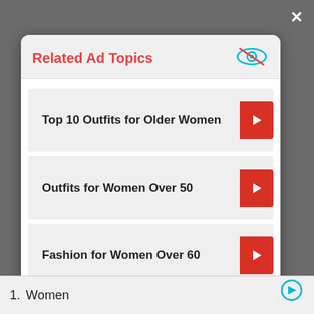Related Ad Topics
Top 10 Outfits for Older Women
Outfits for Women Over 50
Fashion for Women Over 60
Plus Size Outfit Ideas
Continue to Site >>
1. Women